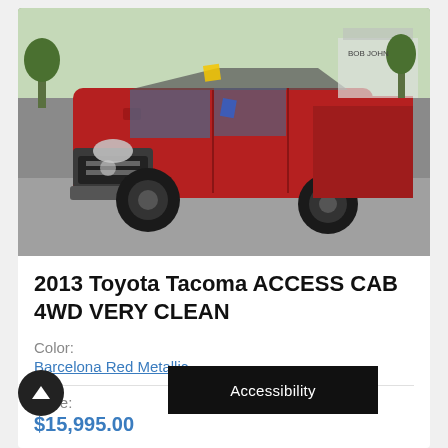[Figure (photo): Red 2013 Toyota Tacoma truck photographed in a parking lot, front three-quarter view, with black wheels and dealer lot background.]
2013 Toyota Tacoma ACCESS CAB 4WD VERY CLEAN
Color:
Barcelona Red Metallic
Price:
$15,995.00
Accessibility